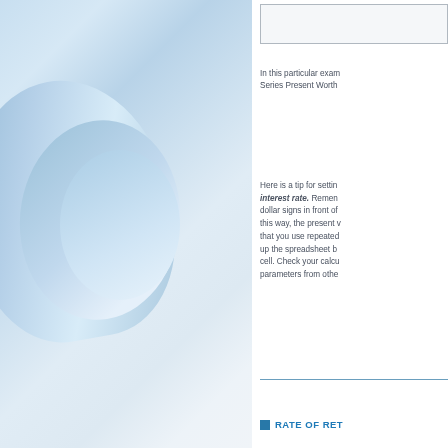[Figure (photo): Photo of rolled architectural blueprints or engineering drawings with light blue tones on a white surface]
In this particular example, Series Present Worth
Here is a tip for setting the interest rate. Remember dollar signs in front of this way, the present value that you use repeatedly up the spreadsheet b cell. Check your calcu parameters from othe
RATE OF RET